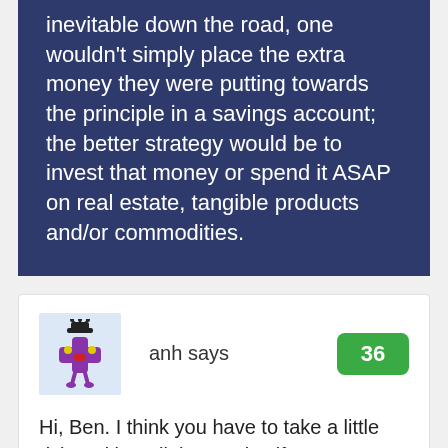inevitable down the road, one wouldn't simply place the extra money they were putting towards the principle in a savings account; the better strategy would be to invest that money or spend it ASAP on real estate, tangible products and/or commodities.
anh says
36
Hi, Ben. I think you have to take a little risk and be a little creative if you want to